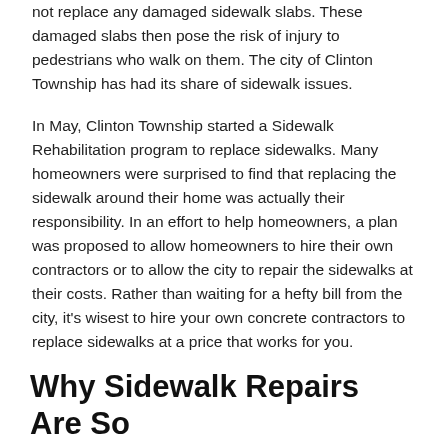not replace any damaged sidewalk slabs. These damaged slabs then pose the risk of injury to pedestrians who walk on them. The city of Clinton Township has had its share of sidewalk issues.
In May, Clinton Township started a Sidewalk Rehabilitation program to replace sidewalks. Many homeowners were surprised to find that replacing the sidewalk around their home was actually their responsibility. In an effort to help homeowners, a plan was proposed to allow homeowners to hire their own contractors or to allow the city to repair the sidewalks at their costs. Rather than waiting for a hefty bill from the city, it's wisest to hire your own concrete contractors to replace sidewalks at a price that works for you.
Why Sidewalk Repairs Are So Important
It may seem like required sidewalk repairs are just another